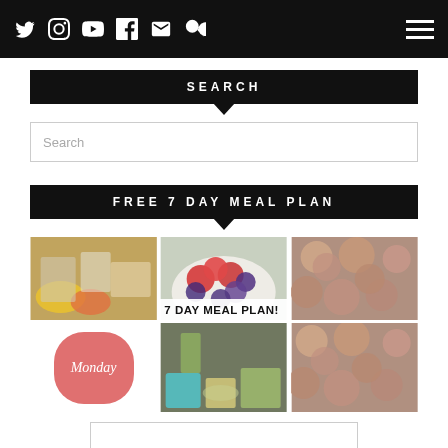Navigation bar with social icons: Twitter, Instagram, YouTube, Facebook, Email, Search, and hamburger menu
SEARCH
Search
FREE 7 DAY MEAL PLAN
[Figure (photo): Collage of 4 food photos: grocery items, bowl of mixed berries, dried apple chips (twice), Monday label circle, ingredients laid out. Text overlay reads '7 DAY MEAL PLAN!']